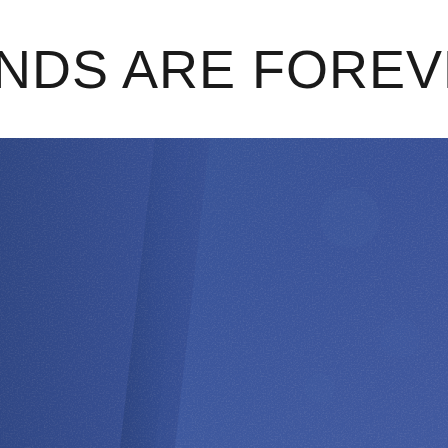NDS ARE FOREVER
[Figure (photo): Close-up photograph of dark blue fabric or material with a subtle diagonal fold/crease running from upper-center to lower-left, showing texture variations in the navy/royal blue color.]